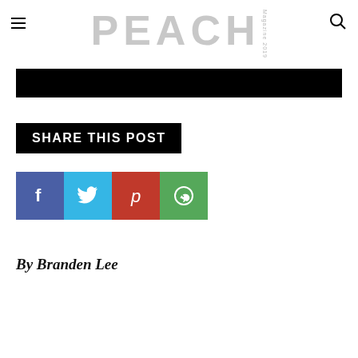PEACH Magazine
[Figure (other): Black horizontal banner bar below header]
[Figure (other): SHARE THIS POST black banner button]
[Figure (other): Social share buttons row: Facebook (blue), Twitter (cyan), Pinterest (red), WhatsApp (green)]
By Branden Lee